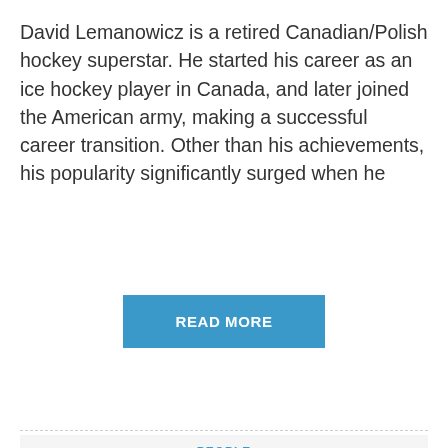David Lemanowicz is a retired Canadian/Polish hockey superstar. He started his career as an ice hockey player in Canada, and later joined the American army, making a successful career transition. Other than his achievements, his popularity significantly surged when he
READ MORE
PEOPLE
Brooke Daniells: A Diva's Journey From being a Scientologist to a